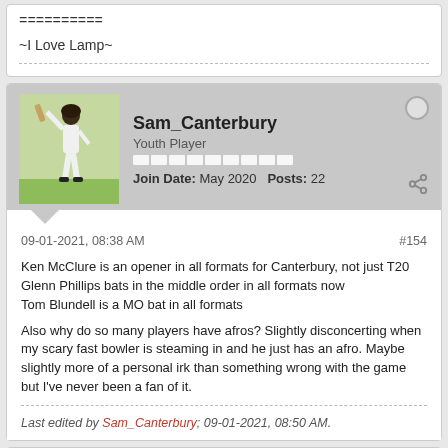==========

~I Love Lamp~
Sam_Canterbury
Youth Player
Join Date: May 2020   Posts: 22
09-01-2021, 08:38 AM
#154

Ken McClure is an opener in all formats for Canterbury, not just T20
Glenn Phillips bats in the middle order in all formats now
Tom Blundell is a MO bat in all formats

Also why do so many players have afros? Slightly disconcerting when my scary fast bowler is steaming in and he just has an afro. Maybe slightly more of a personal irk than something wrong with the game but I've never been a fan of it.

Last edited by Sam_Canterbury; 09-01-2021, 08:50 AM.